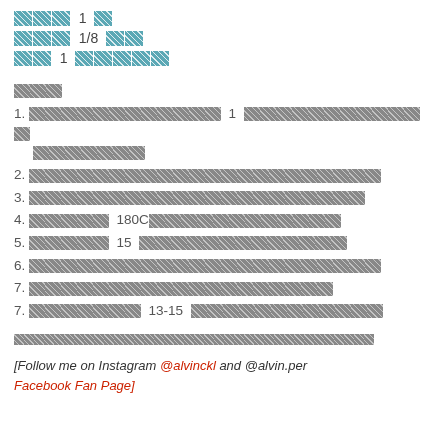[icon] 1 [icon]
[icon] 1/8 [icon][icon]
[icon] 1 [icon][icon][icon][icon][icon]
[section label]
1. [blocked text] 1 [blocked text]
2. [blocked text]
3. [blocked text]
4. [blocked text] 180C[blocked text]
5. [blocked text] 15 [blocked text]
6. [blocked text]
7. [blocked text]
7. [blocked text] 13-15 [blocked text]
[blocked footnote text]
[Follow me on Instagram @alvinckl and @alvin.per... Facebook Fan Page]